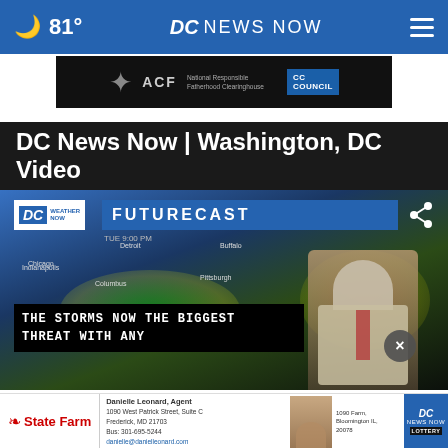81° DC NEWS NOW
[Figure (screenshot): Advertisement banner with ACF National Responsible Fatherhood Clearinghouse and CC Council logos on dark background]
DC News Now | Washington, DC Video
[Figure (screenshot): Weather forecast video thumbnail showing DC Weather Now Futurecast with meteorologist in front of radar map. Caption reads: THE STORMS NOW THE BIGGEST THREAT WITH ANY]
[Figure (screenshot): State Farm advertisement with Danielle Leonard agent contact info, Frederick MD 21703, phone 301-695-5244, danielle@danielleonard.com]